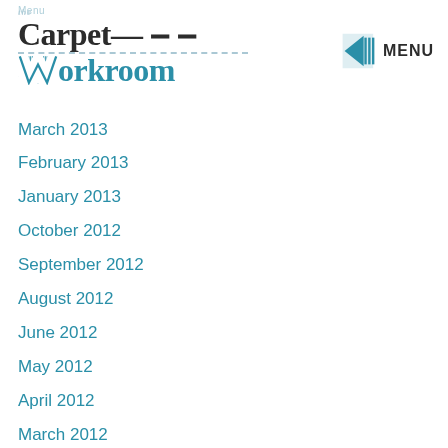the Carpet Workroom — logo with menu
March 2013
February 2013
January 2013
October 2012
September 2012
August 2012
June 2012
May 2012
April 2012
March 2012